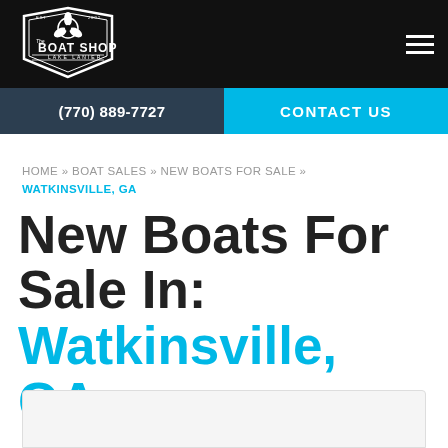[Figure (logo): The Boat Shop Lake Lanier logo — white shield/badge shape with propeller icon and text on black background]
(770) 889-7727   CONTACT US
HOME » BOAT SALES » NEW BOATS FOR SALE » WATKINSVILLE, GA
New Boats For Sale In: Watkinsville, GA